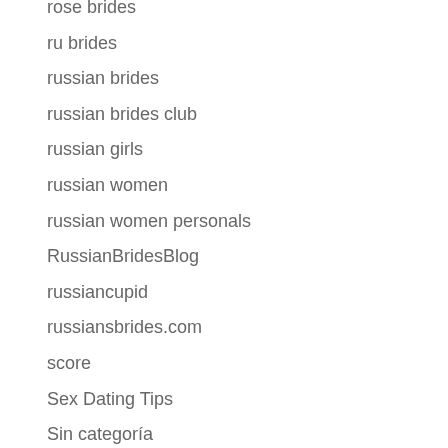rose brides
ru brides
russian brides
russian brides club
russian girls
russian women
russian women personals
RussianBridesBlog
russiancupid
russiansbrides.com
score
Sex Dating Tips
Sin categoría
Tech
TermPaper
thaiflirting